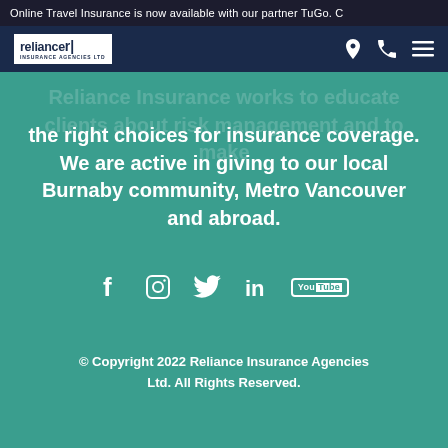Online Travel Insurance is now available with our partner TuGo. C
[Figure (logo): Reliance Insurance Agencies Ltd logo — white text on dark navy background with stylized R icon]
Reliance Insurance works to educate clients about risk management and to make the right choices for insurance coverage. We are active in giving to our local Burnaby community, Metro Vancouver and abroad.
[Figure (infographic): Social media icons row: Facebook, Instagram, Twitter, LinkedIn, YouTube — white icons on teal background]
© Copyright 2022 Reliance Insurance Agencies Ltd. All Rights Reserved.